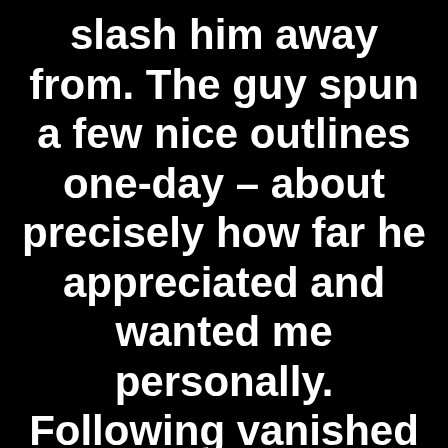slash him away from. The guy spun a few nice outlines one-day – about precisely how far he appreciated and wanted me personally. Following vanished to have 8 months. ? I'm not sure just